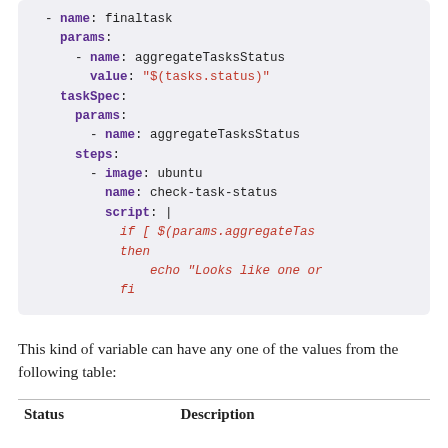[Figure (other): Code block showing YAML configuration with finaltask name, params with aggregateTasksStatus, taskSpec, steps with image ubuntu, check-task-status script containing shell conditionals]
This kind of variable can have any one of the values from the following table:
| Status | Description |
| --- | --- |